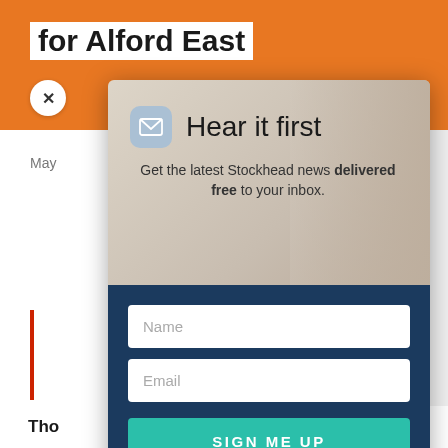for Alford East
May
[Figure (screenshot): Newsletter signup modal popup with marmot/groundhog background image in upper section, email icon, 'Hear it first' heading, subtitle text, Name and Email input fields, and SIGN ME UP button on dark navy background.]
Hear it first
Get the latest Stockhead news delivered free to your inbox.
Name
Email
SIGN ME UP
Tho